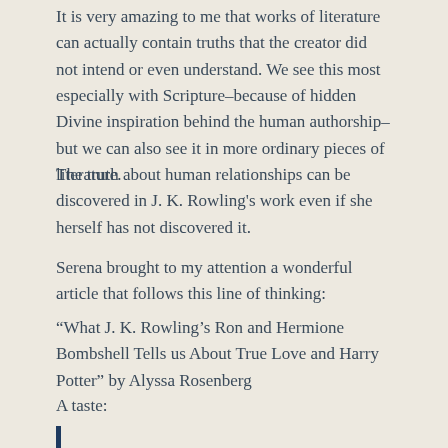It is very amazing to me that works of literature can actually contain truths that the creator did not intend or even understand. We see this most especially with Scripture–because of hidden Divine inspiration behind the human authorship–but we can also see it in more ordinary pieces of literature.
The truth about human relationships can be discovered in J. K. Rowling's work even if she herself has not discovered it.
Serena brought to my attention a wonderful article that follows this line of thinking:
“What J. K. Rowling’s Ron and Hermione Bombshell Tells us About True Love and Harry Potter” by Alyssa Rosenberg
A taste: